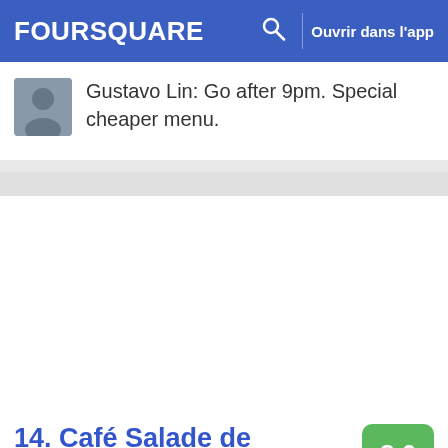FOURSQUARE  Ouvrir dans l'app
Gustavo Lin: Go after 9pm. Special cheaper menu.
[Figure (photo): Food photo showing french fries on the left and mussels with a lemon wedge on a dark plate on the right]
14. Café Salade de Fruits
8.6
1551 W 7th Ave (btwn Fir & Granville), Vancouver, BC
Restaurant français · Fairview · 18 conseils et avis